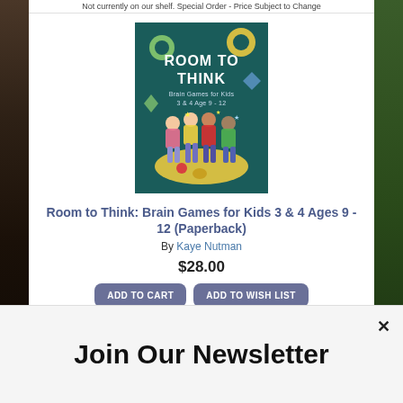Not currently on our shelf. Special Order - Price Subject to Change
[Figure (illustration): Book cover for 'Room to Think: Brain Games for Kids 3 & 4 Age 9-12' featuring teal background with cartoon kids and colorful shapes]
Room to Think: Brain Games for Kids 3 & 4 Ages 9 - 12 (Paperback)
By Kaye Nutman
$28.00
ADD TO CART
ADD TO WISH LIST
NOT on our Shelf. Order now!
[Figure (illustration): Partial book cover showing 'I AM AWESOME' text on blue background]
Join Our Newsletter